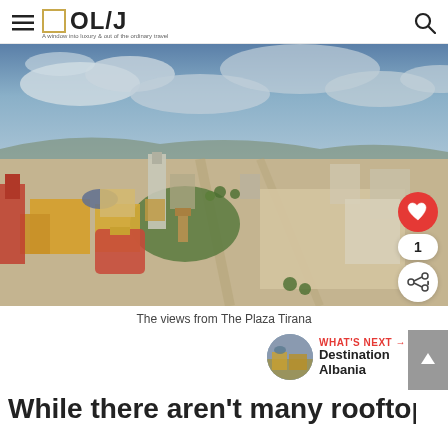OL/J — A window into luxury & out of the ordinary travel
[Figure (photo): Aerial cityscape view of Tirana, Albania, showing Skanderbeg Square, colorful yellow buildings, a tall modern tower, wide boulevard, and city sprawl under dramatic cloudy sky]
The views from The Plaza Tirana
WHAT'S NEXT → Destination Albania
While there aren't many rooftop bars in t